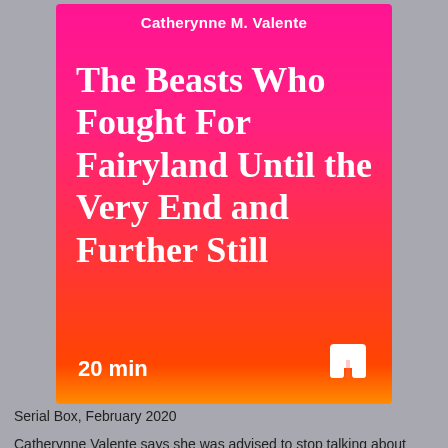[Figure (illustration): Book cover for 'The Beasts Who Fought For Fairyland Until the Very End and Further Still' by Catherynne M. Valente. Hot pink-to-orange gradient background with white serif title text, author name at top, '20 min' duration label at bottom left, and a shorts/pants icon at bottom right.]
Serial Box, February 2020
Catherynne Valente says she was advised to stop talking about politics, and go back Fairyland and fairy tales, which of course are not at all political. Right? She decided to take